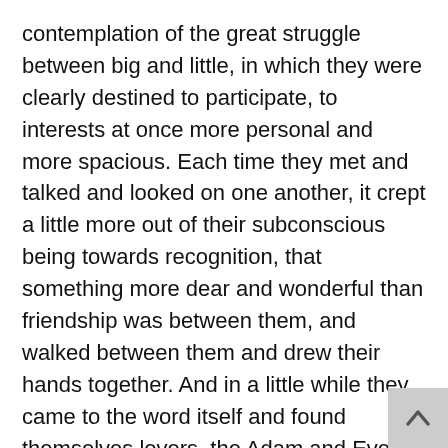contemplation of the great struggle between big and little, in which they were clearly destined to participate, to interests at once more personal and more spacious. Each time they met and talked and looked on one another, it crept a little more out of their subconscious being towards recognition, that something more dear and wonderful than friendship was between them, and walked between them and drew their hands together. And in a little while they came to the word itself and found themselves lovers, the Adam and Eve of a new race in the world.
They set foot side by side into the wonderful valley of love, with its deep and quiet places. The world changed about them with their changing mood, until presently it had become, as it were, a